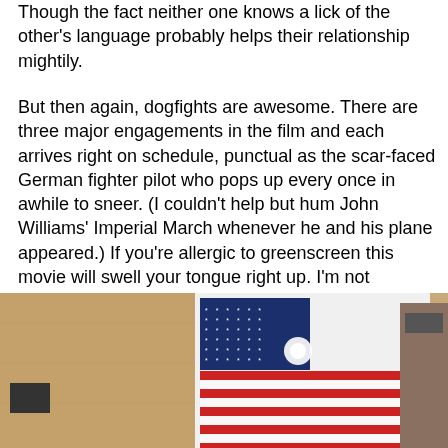Though the fact neither one knows a lick of the other's language probably helps their relationship mightily.
But then again, dogfights are awesome. There are three major engagements in the film and each arrives right on schedule, punctual as the scar-faced German fighter pilot who pops up every once in awhile to sneer. (I couldn't help but hum John Williams' Imperial March whenever he and his plane appeared.) If you're allergic to greenscreen this movie will swell your tongue right up. I'm not particularly, so I loved the special effects reel just as much as I expected. However, as with previous Lucas movies, I walked out wishing the movie part of the movie had been just a little bit stronger.
[Figure (illustration): Rating graphic showing approximately 2.5 out of 4 green pixel-art dinosaur/creature icons]
[Figure (photo): Photograph showing an American flag with stars and red-and-white stripes, mounted on a wall with warm brown tones]